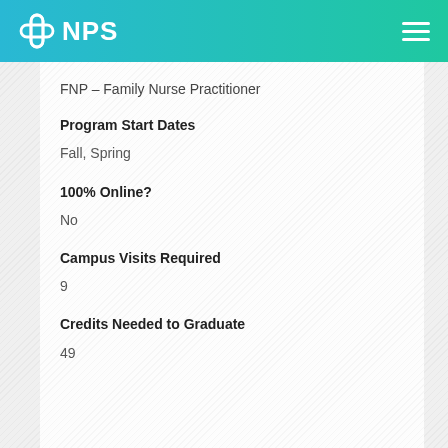NPS
FNP – Family Nurse Practitioner
Program Start Dates
Fall, Spring
100% Online?
No
Campus Visits Required
9
Credits Needed to Graduate
49